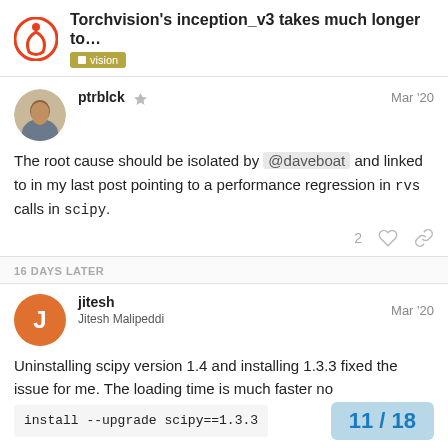Torchvision's inception_v3 takes much longer to... | vision
ptrblck  Mar '20
The root cause should be isolated by @daveboat and linked to in my last post pointing to a performance regression in rvs calls in scipy.
16 DAYS LATER
jitesh  Jitesh Malipeddi  Mar '20
Uninstalling scipy version 1.4 and installing 1.3.3 fixed the issue for me. The loading time is much faster no
install --upgrade scipy==1.3.3
11 / 18